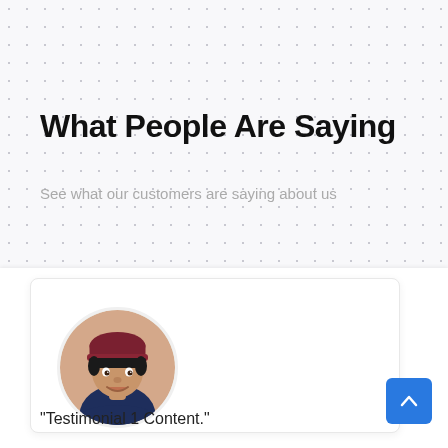What People Are Saying
See what our customers are saying about us
[Figure (photo): Circular avatar photo of a young man wearing a dark red beanie hat and a navy blue t-shirt, smiling]
"Testimonial 1 Content."